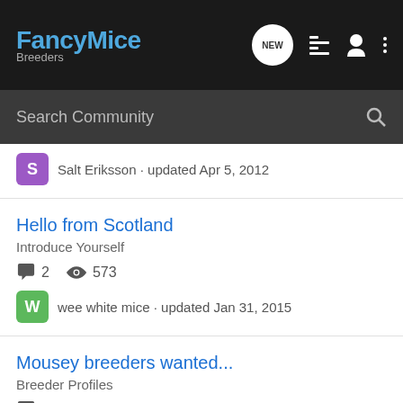FancyMice Breeders
Search Community
Salt Eriksson · updated Apr 5, 2012
Hello from Scotland
Introduce Yourself
2  573
wee white mice · updated Jan 31, 2015
Mousey breeders wanted...
Breeder Profiles
37  7K
andy20146 · updated Dec 31, 2011